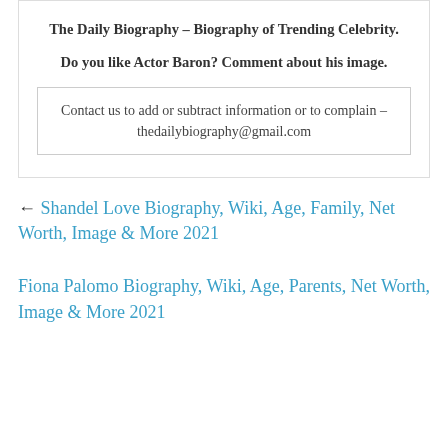The Daily Biography – Biography of Trending Celebrity.
Do you like Actor Baron? Comment about his image.
Contact us to add or subtract information or to complain – thedailybiography@gmail.com
← Shandel Love Biography, Wiki, Age, Family, Net Worth, Image & More 2021
Fiona Palomo Biography, Wiki, Age, Parents, Net Worth, Image & More 2021